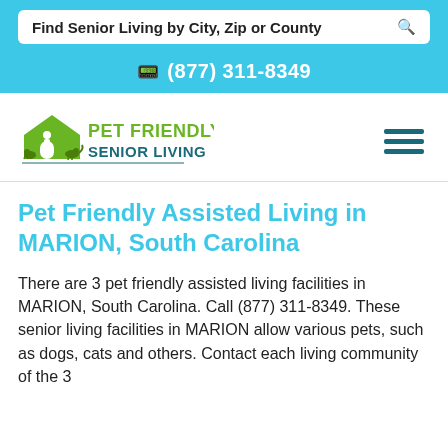Find Senior Living by City, Zip or County
(877) 311-8349
[Figure (logo): Pet Friendly Senior Living logo with house and animals graphic in green, with teal text reading PET FRIENDLY SENIOR LIVING]
Pet Friendly Assisted Living in MARION, South Carolina
There are 3 pet friendly assisted living facilities in MARION, South Carolina. Call (877) 311-8349. These senior living facilities in MARION allow various pets, such as dogs, cats and others. Contact each living community of the 3...